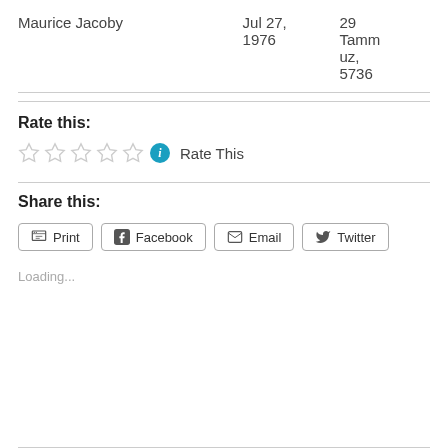| Maurice Jacoby | Jul 27,
1976 | 29
Tammuz,
5736 |
Rate this:
[Figure (other): Five empty star rating icons followed by a blue info circle icon and the text 'Rate This']
Share this:
[Figure (other): Four share buttons: Print, Facebook, Email, Twitter]
Loading...